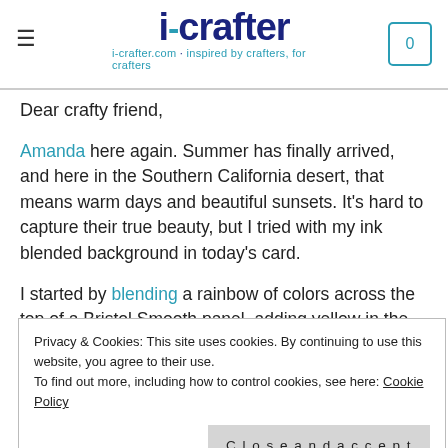i-crafter | i-crafter.com · inspired by crafters, for crafters
Dear crafty friend,
Amanda here again. Summer has finally arrived, and here in the Southern California desert, that means warm days and beautiful sunsets. It's hard to capture their true beauty, but I tried with my ink blended background in today's card.
I started by blending a rainbow of colors across the top of a Bristol Smooth panel, adding yellow in the center, then
Privacy & Cookies: This site uses cookies. By continuing to use this website, you agree to their use.
To find out more, including how to control cookies, see here: Cookie Policy
Close and accept
dark red ink too. With the top still taped off, I splattered